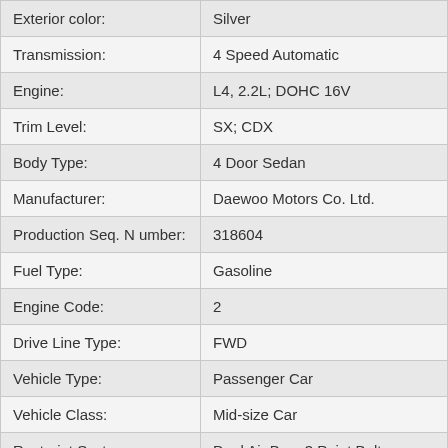| Field | Value |
| --- | --- |
| Exterior color: | Silver |
| Transmission: | 4 Speed Automatic |
| Engine: | L4, 2.2L; DOHC 16V |
| Trim Level: | SX; CDX |
| Body Type: | 4 Door Sedan |
| Manufacturer: | Daewoo Motors Co. Ltd. |
| Production Seq. Number: | 318604 |
| Fuel Type: | Gasoline |
| Engine Code: | 2 |
| Drive Line Type: | FWD |
| Vehicle Type: | Passenger Car |
| Vehicle Class: | Mid-size Car |
| Restraint System: | Dual Air Bag; 3 Point Belts |
| Country: | KOREA |